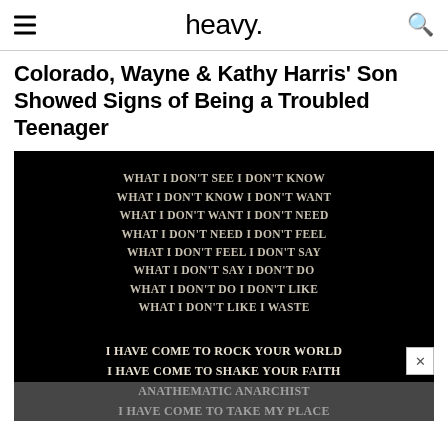heavy.
Colorado, Wayne & Kathy Harris' Son Showed Signs of Being a Troubled Teenager
[Figure (photo): Black background image with white/silver bold serif text displaying a poem/lyrics: 'WHAT I DON'T SEE I DON'T KNOW / WHAT I DON'T KNOW I DON'T WANT / WHAT I DON'T WANT I DON'T NEED / WHAT I DON'T NEED I DON'T FEEL / WHAT I DON'T FEEL I DON'T SAY / WHAT I DON'T SAY I DON'T DO / WHAT I DON'T DO I DON'T LIKE / WHAT I DON'T LIKE I WASTE' and below: 'I HAVE COME TO ROCK YOUR WORLD / I HAVE COME TO SHAKE YOUR FAITH / ANATHEMATIC ANARCHIST / I HAVE COME TO TAKE MY PLACE']